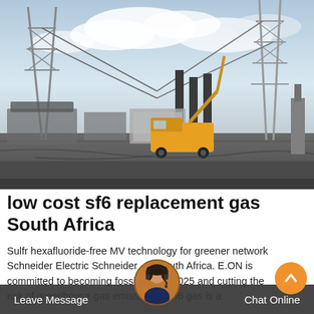[Figure (photo): Electrical substation with high-voltage transmission towers, cables, and a yellow truck/crane vehicle on a grey industrial site under a cloudy sky.]
low cost sf6 replacement gas South Africa
Sulfr hexafluoride-free MV technology for greener network Schneider Electric Schneider South Africa. E.ON is committed to becoming fossil free by 2025 and cutting the risk of greenhouse gas emissions. • sf6 gas is a
Leave Message    Chat Online